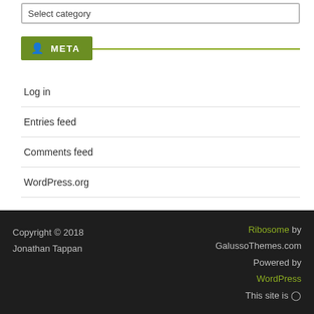Select category
META
Log in
Entries feed
Comments feed
WordPress.org
Copyright © 2018 Jonathan Tappan   Ribosome by GalussoThemes.com Powered by WordPress This site is ◎